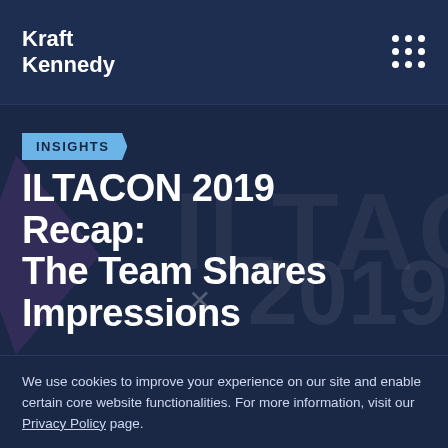Kraft Kennedy
[Figure (screenshot): Hero banner with INSIGHTS badge and ILTACON 2019 watermark text in background]
INSIGHTS
ILTACON 2019 Recap: The Team Shares Impressions
We use cookies to improve your experience on our site and enable certain core website functionalities. For more information, visit our Privacy Policy page.
Accept